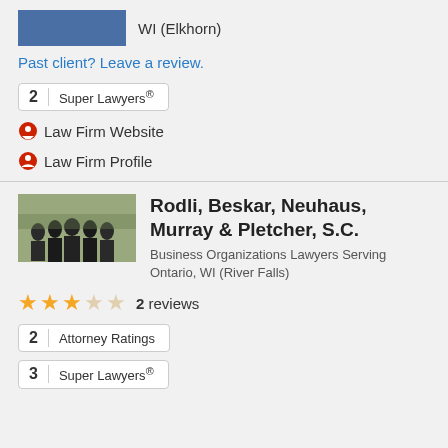WI (Elkhorn)
Past client? Leave a review.
2  Super Lawyers®
Law Firm Website
Law Firm Profile
[Figure (photo): Group photo of law firm attorneys outdoors]
Rodli, Beskar, Neuhaus, Murray & Pletcher, S.C.
Business Organizations Lawyers Serving Ontario, WI (River Falls)
2 reviews
2  Attorney Ratings
3  Super Lawyers®